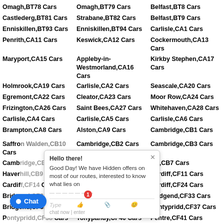Omagh,BT78 Cars | Omagh,BT79 Cars | Belfast,BT8 Cars
Castlederg,BT81 Cars | Strabane,BT82 Cars | Belfast,BT9 Cars
Enniskillen,BT93 Cars | Enniskillen,BT94 Cars | Carlisle,CA1 Cars
Penrith,CA11 Cars | Keswick,CA12 Cars | Cockermouth,CA13 Cars
Maryport,CA15 Cars | Appleby-in-Westmorland,CA16 Cars | Kirkby Stephen,CA17 Cars
Holmrook,CA19 Cars | Carlisle,CA2 Cars | Seascale,CA20 Cars
Egremont,CA22 Cars | Cleator,CA23 Cars | Moor Row,CA24 Cars
Frizington,CA26 Cars | Saint Bees,CA27 Cars | Whitehaven,CA28 Cars
Carlisle,CA4 Cars | Carlisle,CA5 Cars | Carlisle,CA6 Cars
Brampton,CA8 Cars | Alston,CA9 Cars | Cambridge,CB1 Cars
Saffron Walden,CB10 Cars | Cambridge,CB2 Cars | Cambridge,CB3 Cars
Cambridge,CB4 Cars | Ely,CB6 Cars | Ely,CB7 Cars
Haverhill,CB9 Cars | Cardiff,CF10 Cars | Cardiff,CF11 Cars
Cardiff,CF14 Cars | Cardiff,CF23 Cars | Cardiff,CF24 Cars
Bridgend,CF31 Cars | Bridgend,CF32 Cars | Bridgend,CF33 Cars
Bridgend,CF35 Cars | Porthcawl,CF36 Cars | Pontypridd,CF37 Cars
Pontypridd,CF38 Cars | Tonypandy,CF40 Cars | Pentre,CF41 Cars
Ferndale,CF43 Cars | Aberdare,CF44 Cars | Mountain Ash,CF45 Cars